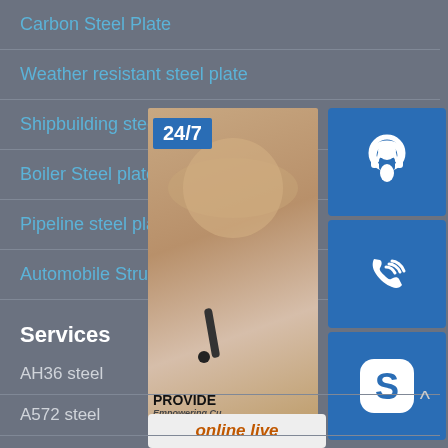Carbon Steel Plate
Weather resistant steel plate
Shipbuilding steel plate
Boiler Steel plate
Pipeline steel plate
Automobile Structure Steel Plate
[Figure (infographic): Customer service widget showing a woman wearing a phone headset, '24/7' label, icons for customer support (headset icon), phone call, Skype, and an 'online live' button. Text includes 'PROVIDE' and 'Empowering Cu[stomers]']
Services
AH36 steel
A572 steel
A283 steel